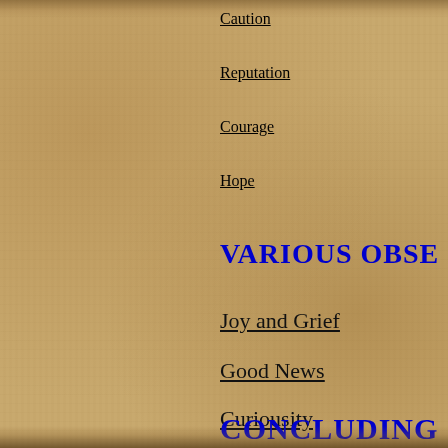Caution
Reputation
Courage
Hope
VARIOUS OBSE
Joy and Grief
Good News
Curiousity
CONCLUDING